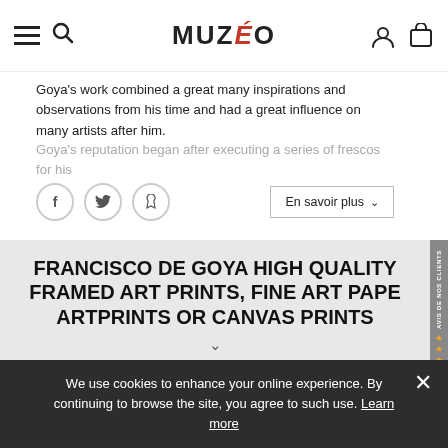MUZÉO
Goya's work combined a great many inspirations and observations from his time and had a great influence on many artists after him.
Goya's reputation began after executing a series of frescos for his
En savoir plus
FRANCISCO DE GOYA HIGH QUALITY FRAMED ART PRINTS, FINE ART PAPER ARTPRINTS OR CANVAS PRINTS
[Figure (other): Sidebar with star ratings and AVIS DE NOS CLIENTS text, vertical orientation with gold stars and a badge]
[Figure (other): White image placeholder area for artwork]
We use cookies to enhance your online experience. By continuing to browse the site, you agree to such use. Learn more